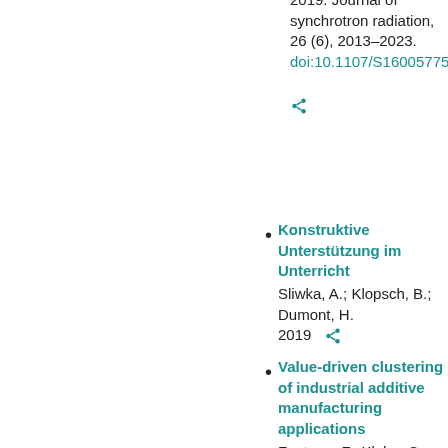2019. Journal of synchrotron radiation, 26 (6), 2013–2023. doi:10.1107/S16005775190...
Konstruktive Unterstützung im Unterricht
Sliwka, A.; Klopsch, B.; Dumont, H.
2019
Value-driven clustering of industrial additive manufacturing applications
Fontana, F.; Klahn, C.; Meboldt, M.
2019. Journal of manufacturing technology management, 30 (2),